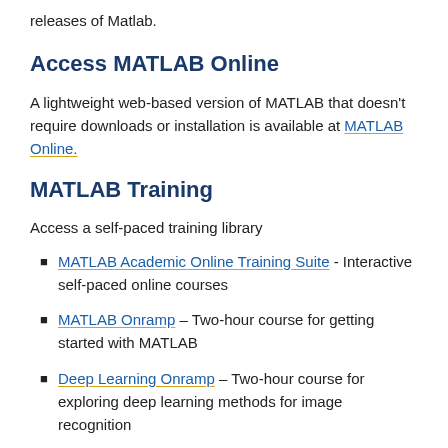releases of Matlab.
Access MATLAB Online
A lightweight web-based version of MATLAB that doesn't require downloads or installation is available at MATLAB Online.
MATLAB Training
Access a self-paced training library
MATLAB Academic Online Training Suite - Interactive self-paced online courses
MATLAB Onramp – Two-hour course for getting started with MATLAB
Deep Learning Onramp – Two-hour course for exploring deep learning methods for image recognition